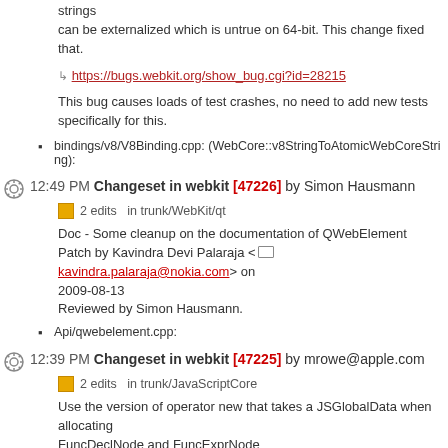strings
can be externalized which is untrue on 64-bit. This change fixed
that.
https://bugs.webkit.org/show_bug.cgi?id=28215
This bug causes loads of test crashes, no need to add new tests
specifically for this.
bindings/v8/V8Binding.cpp: (WebCore::v8StringToAtomicWebCoreString):
12:49 PM Changeset in webkit [47226] by Simon Hausmann
2 edits   in trunk/WebKit/qt
Doc - Some cleanup on the documentation of QWebElement
Patch by Kavindra Devi Palaraja <kavindra.palaraja@nokia.com> on 2009-08-13
Reviewed by Simon Hausmann.
Api/qwebelement.cpp:
12:39 PM Changeset in webkit [47225] by mrowe@apple.com
2 edits   in trunk/JavaScriptCore
Use the version of operator new that takes a JSGlobalData when allocating FuncDeclNode and FuncExprNode